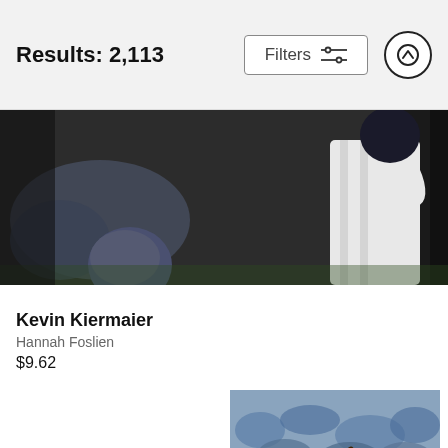Results: 2,113
[Figure (photo): Partial baseball photo showing a player in white uniform swinging, dark background, cropped at top of page]
Kevin Kiermaier
Hannah Foslien
$9.62
[Figure (photo): Baseball player in blue pinstripe uniform swinging bat, crowd visible in background wearing blue attire]